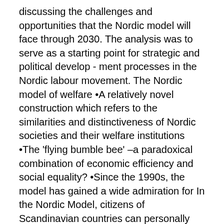discussing the challenges and opportunities that the Nordic model will face through 2030. The analysis was to serve as a starting point for strategic and political develop - ment processes in the Nordic labour movement. The Nordic model of welfare •A relatively novel construction which refers to the similarities and distinctiveness of Nordic societies and their welfare institutions •The 'flying bumble bee' –a paradoxical combination of economic efficiency and social equality? •Since the 1990s, the model has gained a wide admiration for In the Nordic Model, citizens of Scandinavian countries can personally possess property.
Ef camp
Duster, Sandero och Dokker Van. Before the start of country-specific channels, Denmark, Sweden,